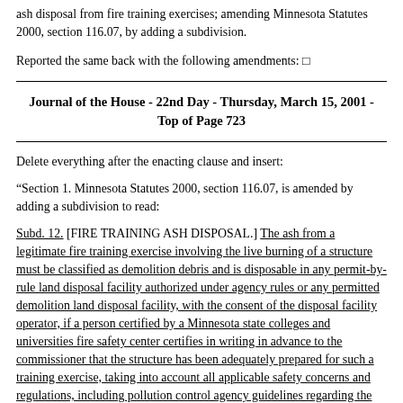ash disposal from fire training exercises; amending Minnesota Statutes 2000, section 116.07, by adding a subdivision.
Reported the same back with the following amendments: □
Journal of the House - 22nd Day - Thursday, March 15, 2001 - Top of Page 723
Delete everything after the enacting clause and insert:
"Section 1. Minnesota Statutes 2000, section 116.07, is amended by adding a subdivision to read:
Subd. 12. [FIRE TRAINING ASH DISPOSAL.] The ash from a legitimate fire training exercise involving the live burning of a structure must be classified as demolition debris and is disposable in any permit-by-rule land disposal facility authorized under agency rules or any permitted demolition land disposal facility, with the consent of the disposal facility operator, if a person certified by a Minnesota state colleges and universities fire safety center certifies in writing in advance to the commissioner that the structure has been adequately prepared for such a training exercise, taking into account all applicable safety concerns and regulations, including pollution control agency guidelines regarding the removal of hazardous materials from training burn structures.